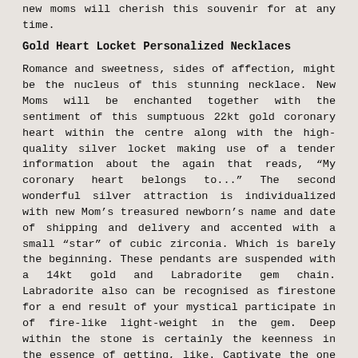new moms will cherish this souvenir for at any time.
Gold Heart Locket Personalized Necklaces
Romance and sweetness, sides of affection, might be the nucleus of this stunning necklace. New Moms will be enchanted together with the sentiment of this sumptuous 22kt gold coronary heart within the centre along with the high-quality silver locket making use of a tender information about the again that reads, “My coronary heart belongs to...” The second wonderful silver attraction is individualized with new Mom’s treasured newborn’s name and date of shipping and delivery and accented with a small “star” of cubic zirconia. Which is barely the beginning. These pendants are suspended with a 14kt gold and Labradorite gem chain. Labradorite also can be recognised as firestone for a end result of your mystical participate in of fire-like light-weight in the gem. Deep within the stone is certainly the keenness in the essence of getting, like. Captivate the one you love one’s coronary coronary heart with appealing